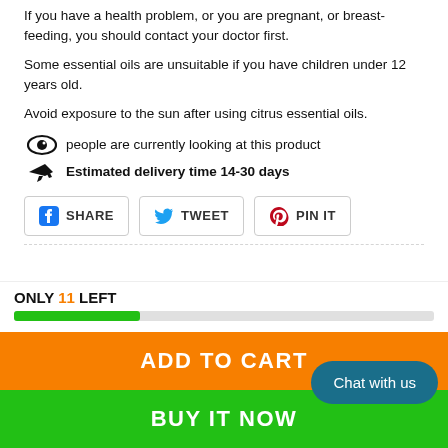If you have a health problem, or you are pregnant, or breastfeeding, you should contact your doctor first.
Some essential oils are unsuitable if you have children under 12 years old.
Avoid exposure to the sun after using citrus essential oils.
people are currently looking at this product
Estimated delivery time 14-30 days
SHARE  TWEET  PIN IT
ONLY 11 LEFT
ADD TO CART
BUY IT NOW
Chat with us